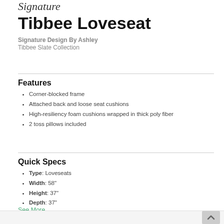Signature
Tibbee Loveseat
Signature Design By Ashley
Tibbee Slate Collection
Features
Corner-blocked frame
Attached back and loose seat cushions
High-resiliency foam cushions wrapped in thick poly fiber
2 toss pillows included
Quick Specs
Type: Loveseats
Width: 58"
Height: 37"
Depth: 37"
See More